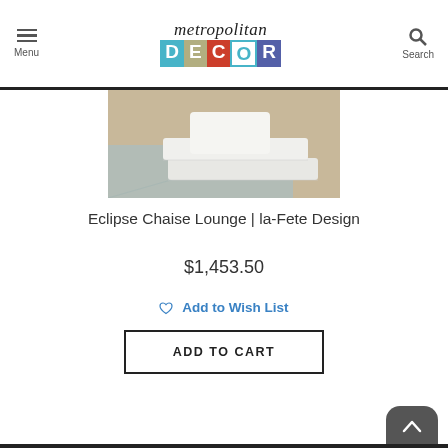Metropolitan Decor — Menu / Search navigation bar
[Figure (photo): Product photo of Eclipse Chaise Lounge showing padded white cushions stacked on a textured surface]
Eclipse Chaise Lounge | la-Fete Design
$1,453.50
Add to Wish List
ADD TO CART